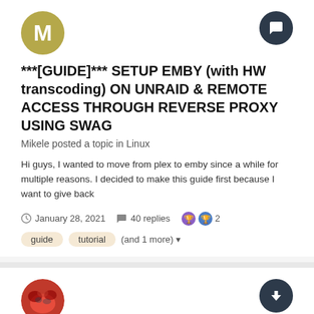***[GUIDE]*** SETUP EMBY (with HW transcoding) ON UNRAID & REMOTE ACCESS THROUGH REVERSE PROXY USING SWAG
Mikele posted a topic in Linux
Hi guys, I wanted to move from plex to emby since a while for multiple reasons. I decided to make this guide first because I want to give back
January 28, 2021   40 replies   2
guide   tutorial   (and 1 more)
Transcoding Cache Flush Issue
bendini20 posted a topic in Linux